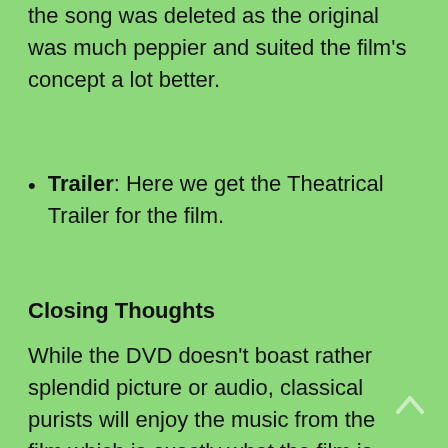the song was deleted as the original was much peppier and suited the film's concept a lot better.
Trailer: Here we get the Theatrical Trailer for the film.
Closing Thoughts
While the DVD doesn't boast rather splendid picture or audio, classical purists will enjoy the music from the film which is exactly what the film is suppose to do. Recommended for exactly those types of people